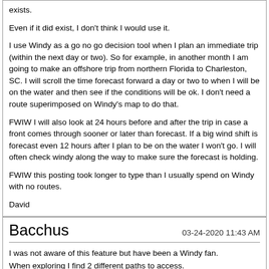exists.
Even if it did exist, I don't think I would use it.
I use Windy as a go no go decision tool when I plan an immediate trip (within the next day or two). So for example, in another month I am going to make an offshore trip from northern Florida to Charleston, SC. I will scroll the time forecast forward a day or two to when I will be on the water and then see if the conditions will be ok. I don't need a route superimposed on Windy's map to do that.
FWIW I will also look at 24 hours before and after the trip in case a front comes through sooner or later than forecast. If a big wind shift is forecast even 12 hours after I plan to be on the water I won't go. I will often check windy along the way to make sure the forecast is holding.
FWIW this posting took longer to type than I usually spend on Windy with no routes.
David
Bacchus
03-24-2020 11:43 AM
I was not aware of this feature but have been a Windy fan.
When exploring I find 2 different paths to access.
On the App
If you go to menu (3 bars) - settings - menu (@top) - distance & planning is one of the choices